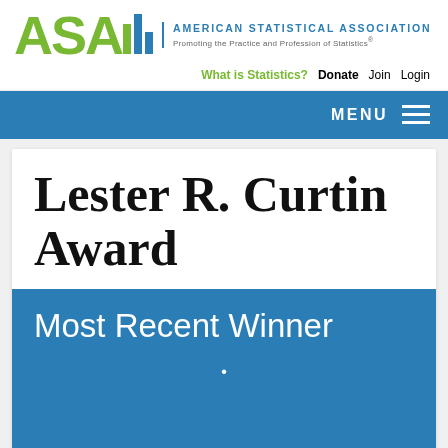[Figure (logo): American Statistical Association logo with ASA letters in green, bar chart icon in green and blue, org name and tagline in blue/gray]
What is Statistics?  Donate  Join  Login
MENU
Lester R. Curtin Award
Most Recent Winner